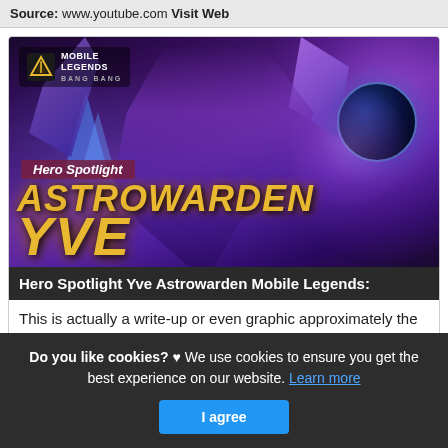Source: www.youtube.com Visit Web
[Figure (illustration): Mobile Legends Bang Bang game artwork showing Hero Spotlight for Yve Astrowarden - a purple-themed mage character with cosmic/space aesthetic, holding a dark orb, with golden stylized text 'ASTROWARDEN YVE' and 'Hero Spotlight' label]
Hero Spotlight Yve Astrowarden Mobile Legends:
This is actually a write-up or even graphic approximately the
Do you like cookies? ♥ We use cookies to ensure you get the best experience on our website. Learn more
I agree